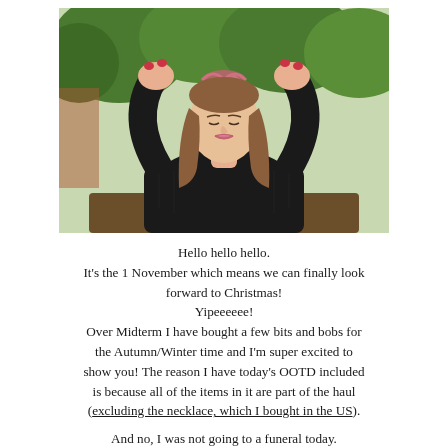[Figure (photo): A young woman with long straight brown hair, wearing a black knit sweater, tying a pink patterned hair accessory on top of her head while looking down, seated outdoors with green trees and a brick wall in the background.]
Hello hello hello.
It's the 1 November which means we can finally look forward to Christmas!
Yipeeeeee!
Over Midterm I have bought a few bits and bobs for the Autumn/Winter time and I'm super excited to show you! The reason I have today's OOTD included is because all of the items in it are part of the haul (excluding the necklace, which I bought in the US).

And no, I was not going to a funeral today.